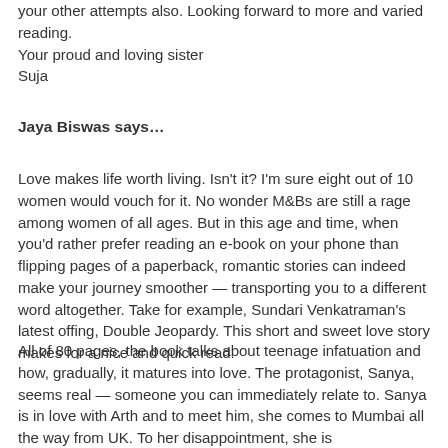your other attempts also. Looking forward to more and varied reading.
Your proud and loving sister
Suja
Jaya Biswas says…
Love makes life worth living. Isn't it? I'm sure eight out of 10 women would vouch for it. No wonder M&Bs are still a rage among women of all ages. But in this age and time, when you'd rather prefer reading an e-book on your phone than flipping pages of a paperback, romantic stories can indeed make your journey smoother — transporting you to a different word altogether. Take for example, Sundari Venkatraman's latest offing, Double Jeopardy. This short and sweet love story makes for a nice and quick read.
All of 80 pages, the book talks about teenage infatuation and how, gradually, it matures into love. The protagonist, Sanya, seems real — someone you can immediately relate to. Sanya is in love with Arth and to meet him, she comes to Mumbai all the way from UK. To her disappointment, she is